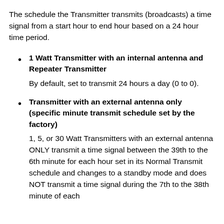The schedule the Transmitter transmits (broadcasts) a time signal from a start hour to end hour based on a 24 hour time period.
1 Watt Transmitter with an internal antenna and Repeater Transmitter
By default, set to transmit 24 hours a day (0 to 0).
Transmitter with an external antenna only (specific minute transmit schedule set by the factory)
1, 5, or 30 Watt Transmitters with an external antenna ONLY transmit a time signal between the 39th to the 6th minute for each hour set in its Normal Transmit schedule and changes to a standby mode and does NOT transmit a time signal during the 7th to the 38th minute of each